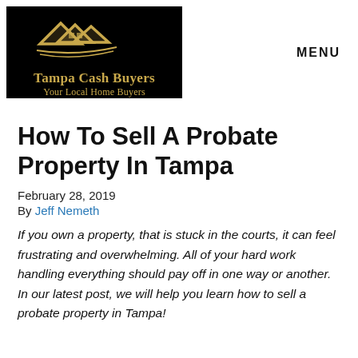[Figure (logo): Tampa Cash Buyers logo — gold house/rooftop icon on black background with text 'Tampa Cash Buyers Your Local Home Buyers']
MENU
How To Sell A Probate Property In Tampa
February 28, 2019
By Jeff Nemeth
If you own a property, that is stuck in the courts, it can feel frustrating and overwhelming. All of your hard work handling everything should pay off in one way or another. In our latest post, we will help you learn how to sell a probate property in Tampa!